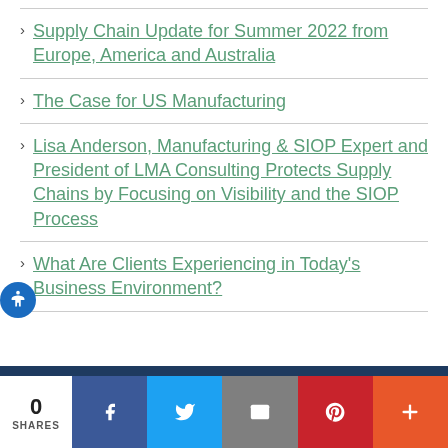Supply Chain Update for Summer 2022 from Europe, America and Australia
The Case for US Manufacturing
Lisa Anderson, Manufacturing & SIOP Expert and President of LMA Consulting Protects Supply Chains by Focusing on Visibility and the SIOP Process
What Are Clients Experiencing in Today's Business Environment?
0 SHARES | Facebook | Twitter | Email | Pinterest | More